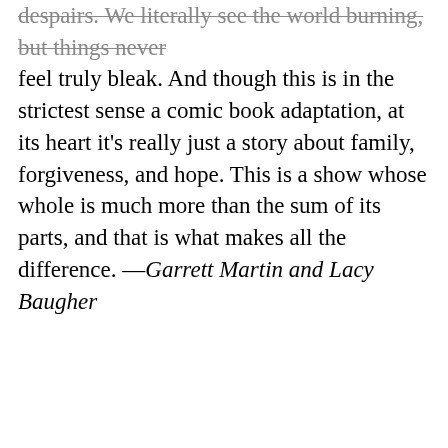despairs. We literally see the world burning, but things never feel truly bleak. And though this is in the strictest sense a comic book adaptation, at its heart it's really just a story about family, forgiveness, and hope. This is a show whose whole is much more than the sum of its parts, and that is what makes all the difference. —Garrett Martin and Lacy Baugher